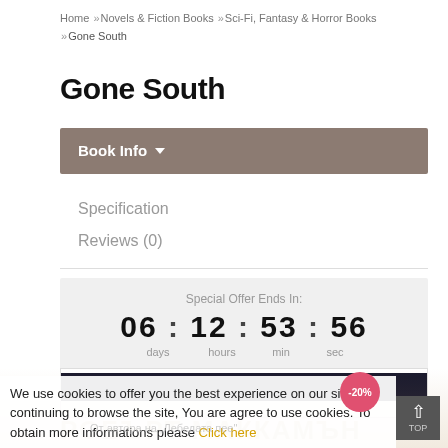Home » Novels & Fiction Books » Sci-Fi, Fantasy & Horror Books » Gone South
Gone South
Book Info ▼
Specification
Reviews (0)
Special Offer Ends In: 06 : 12 : 53 : 56 days hours min sec
[Figure (screenshot): Book product image area with dark header band and pink -20% discount badge]
We use cookies to offer you the best experience on our site. By continuing to browse the site, You are agree to use cookies. To obtain more informations please Click here